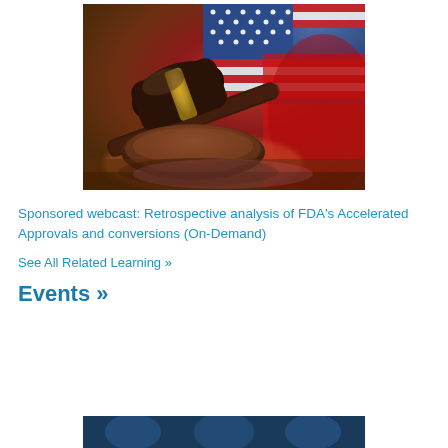[Figure (photo): A judge's gavel resting on its sound block with an American flag in the background, suggesting legal/regulatory context]
Sponsored webcast: Retrospective analysis of FDA's Accelerated Approvals and conversions (On-Demand)
See All Related Learning »
Events »
[Figure (photo): Partial bottom strip showing a dark blue image, partially cut off]